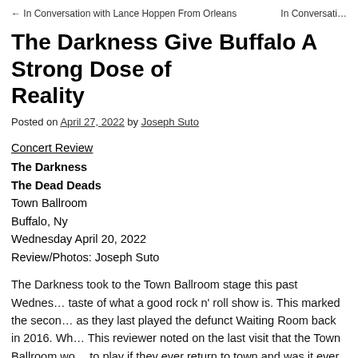← In Conversation with Lance Hoppen From Orleans    In Conversati…
The Darkness Give Buffalo A Strong Dose of Reality
Posted on April 27, 2022 by Joseph Suto
Concert Review
The Darkness
The Dead Deads
Town Ballroom
Buffalo, Ny
Wednesday April 20, 2022
Review/Photos: Joseph Suto
The Darkness took to the Town Ballroom stage this past Wednes… taste of what a good rock n' roll show is. This marked the secon… as they last played the defunct Waiting Room back in 2016. Wh… This reviewer noted on the last visit that the Town Ballroom wo… to play if they ever return to town and was it ever.